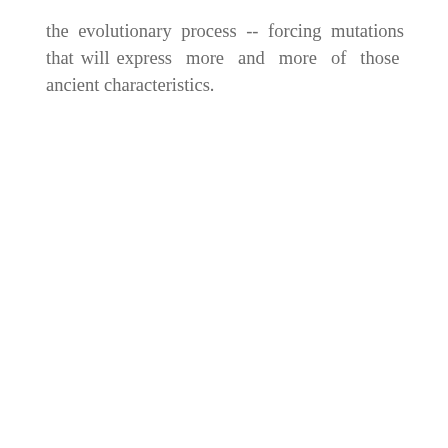the evolutionary process -- forcing mutations that will express more and more of those ancient characteristics.